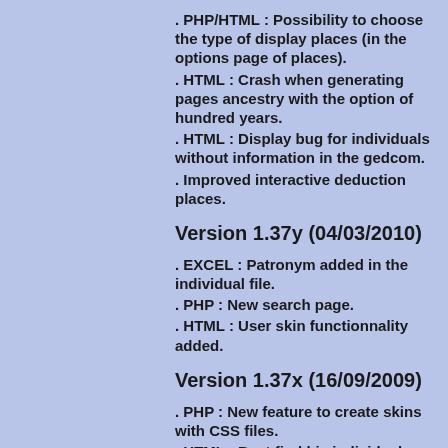. PHP/HTML : Possibility to choose the type of display places (in the options page of places).
. HTML : Crash when generating pages ancestry with the option of hundred years.
. HTML : Display bug for individuals without information in the gedcom.
. Improved interactive deduction places.
Version 1.37y (04/03/2010)
. EXCEL : Patronym added in the individual file.
. PHP : New search page.
. HTML : User skin functionnality added.
Version 1.37x (16/09/2009)
. PHP : New feature to create skins with CSS files.
. HTML : Best find his individual...